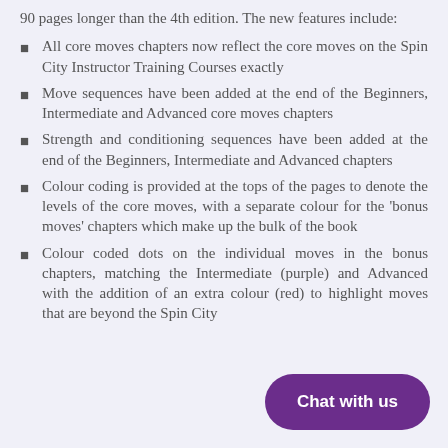90 pages longer than the 4th edition. The new features include:
All core moves chapters now reflect the core moves on the Spin City Instructor Training Courses exactly
Move sequences have been added at the end of the Beginners, Intermediate and Advanced core moves chapters
Strength and conditioning sequences have been added at the end of the Beginners, Intermediate and Advanced chapters
Colour coding is provided at the tops of the pages to denote the levels of the core moves, with a separate colour for the 'bonus moves' chapters which make up the bulk of the book
Colour coded dots on the individual moves in the bonus chapters, matching the Intermediate (purple) and Advanced with the addition of an extra colour (red) to highlight moves that are beyond the Spin City